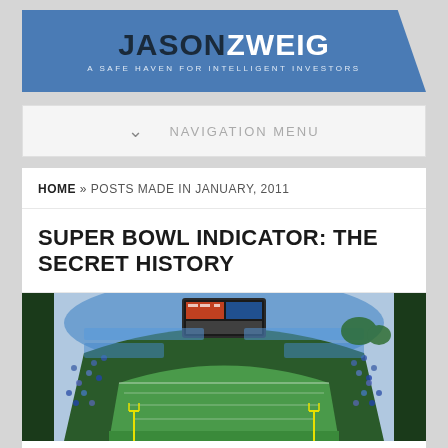JASON ZWEIG — A SAFE HAVEN FOR INTELLIGENT INVESTORS
NAVIGATION MENU
HOME » POSTS MADE IN JANUARY, 2011
SUPER BOWL INDICATOR: THE SECRET HISTORY
[Figure (photo): Aerial view of a packed football stadium during a Super Bowl game, showing the field, stands full of fans, and a large scoreboard/jumbotron visible in the background.]